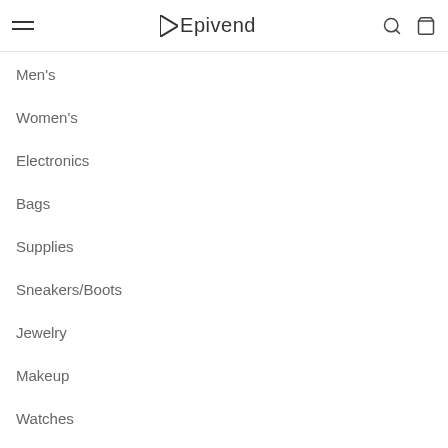Epivend
Men's
Women's
Electronics
Bags
Supplies
Sneakers/Boots
Jewelry
Makeup
Watches
Support
Search